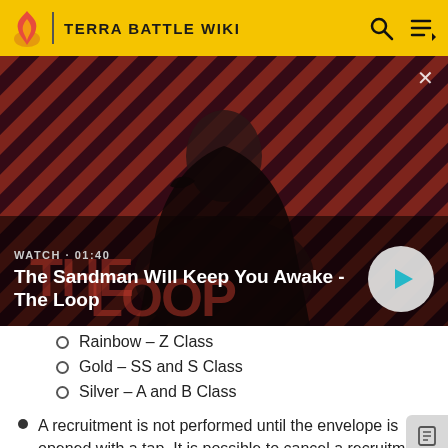TERRA BATTLE WIKI
[Figure (screenshot): Video thumbnail for 'The Sandman Will Keep You Awake - The Loop' with a dark-robed figure against a red diagonal striped background, with watch label and play button]
WATCH · 01:40 — The Sandman Will Keep You Awake - The Loop
Rainbow — Z Class
Gold — SS and S Class
Silver — A and B Class
A recruitment is not performed until the envelope is opened with a tap. It is possible to cancel a recruitment by tapping the "Back" button before